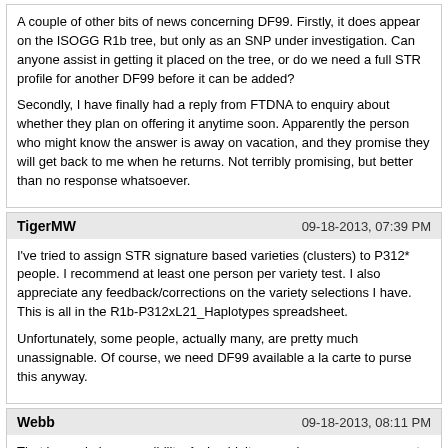A couple of other bits of news concerning DF99. Firstly, it does appear on the ISOGG R1b tree, but only as an SNP under investigation. Can anyone assist in getting it placed on the tree, or do we need a full STR profile for another DF99 before it can be added?

Secondly, I have finally had a reply from FTDNA to enquiry about whether they plan on offering it anytime soon. Apparently the person who might know the answer is away on vacation, and they promise they will get back to me when he returns. Not terribly promising, but better than no response whatsoever.
TigerMW | 09-18-2013, 07:39 PM

I've tried to assign STR signature based varieties (clusters) to P312* people. I recommend at least one person per variety test. I also appreciate any feedback/corrections on the variety selections I have. This is all in the R1b-P312xL21_Haplotypes spreadsheet.

Unfortunately, some people, actually many, are pretty much unassignable. Of course, we need DF99 available a la carte to purse this anyway.
Webb | 09-18-2013, 08:11 PM

That is an obvious possibility. As I said, it was only a guess on my part.

I have found a couple of completely different STR clusters among the P312** group. One is a smaller group which matches a large number of slow mutating off modal STRs with myself. I am reasonably confident that this group will test DF99+. Another cluster, which includes a large number of English and Welsh surnames, matches a completely different off-modal STR pattern, as I recollect, without a single off modal in common with the first group. I have no way of knowing whether this group will also be DF99. it is certainly a possibility. DF99, like L21, could well be composed of several different STR varieties. It is also possible that everyone on the P312** could ultimately fall within DF99. It looks old enough and widespread enough to cast a fairly wide net. As you say, it could turn out to be an umbrella SNP which, like DF27, includes some very